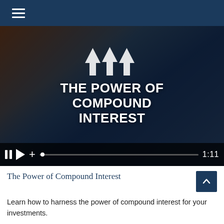[Figure (screenshot): Navigation bar with hamburger menu icon on dark navy background]
[Figure (screenshot): Video thumbnail showing 'The Power of Compound Interest' title with three upward arrows overlaid on image of hands and a historical portrait. Video controls show pause, play, volume, seek bar, and duration 1:11.]
The Power of Compound Interest
Learn how to harness the power of compound interest for your investments.